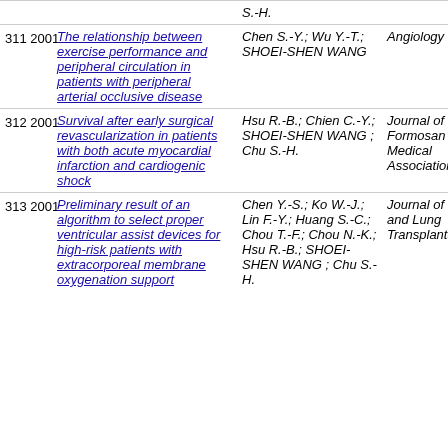| # | Year | Title | Authors | Journal |
| --- | --- | --- | --- | --- |
| 311 | 2001 | The relationship between exercise performance and peripheral circulation in patients with peripheral arterial occlusive disease | Chen S.-Y.; Wu Y.-T.; SHOEI-SHEN WANG | Angiology |
| 312 | 2001 | Survival after early surgical revascularization in patients with both acute myocardial infarction and cardiogenic shock | Hsu R.-B.; Chien C.-Y.; SHOEI-SHEN WANG ; Chu S.-H. | Journal of the Formosan Medical Association |
| 313 | 2001 | Preliminary result of an algorithm to select proper ventricular assist devices for high-risk patients with extracorporeal membrane oxygenation support | Chen Y.-S.; Ko W.-J.; Lin F.-Y.; Huang S.-C.; Chou T.-F.; Chou N.-K.; Hsu R.-B.; SHOEI-SHEN WANG ; Chu S.-H. | Journal of Heart and Lung Transplantation |